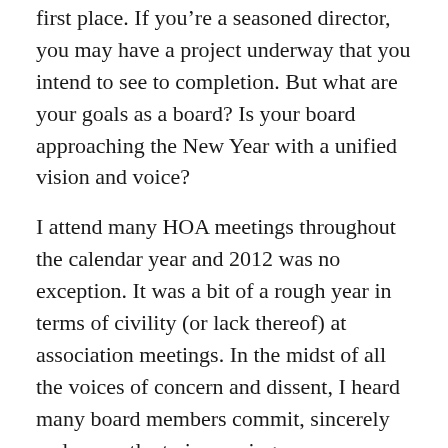first place. If you're a seasoned director, you may have a project underway that you intend to see to completion. But what are your goals as a board? Is your board approaching the New Year with a unified vision and voice?
I attend many HOA meetings throughout the calendar year and 2012 was no exception. It was a bit of a rough year in terms of civility (or lack thereof) at association meetings. In the midst of all the voices of concern and dissent, I heard many board members commit, sincerely and earnestly, to improving communication with owners. If your board is also committed to improving communication in 2013, here are some tips to help you achieve that goal:
Identify what you need to communicate. When I attend community meetings, a problem is usually brewing or has already escalated into a conflict. All too often, the conflict